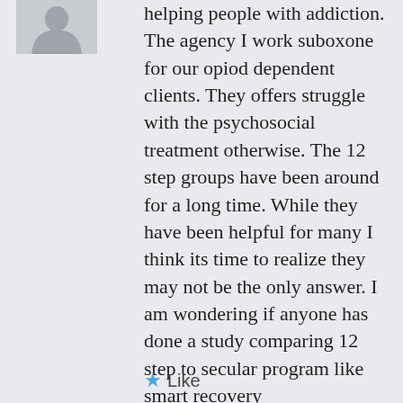[Figure (photo): Avatar/profile photo silhouette of a person, partially visible at top-left]
helping people with addiction. The agency I work suboxone for our opiod dependent clients. They offers struggle with the psychosocial treatment otherwise. The 12 step groups have been around for a long time. While they have been helpful for many I think its time to realize they may not be the only answer. I am wondering if anyone has done a study comparing 12 step to secular program like smart recovery
Like